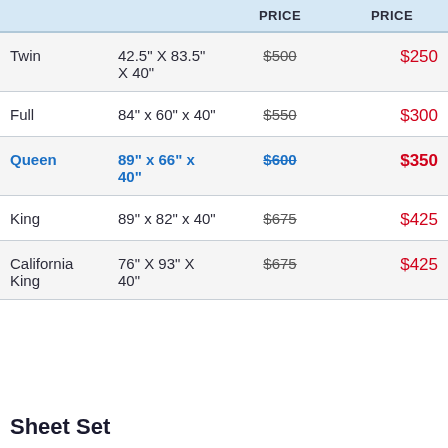|  |  | PRICE | PRICE |
| --- | --- | --- | --- |
| Twin | 42.5" X 83.5" X 40" | $500 | $250 |
| Full | 84" x 60" x 40" | $550 | $300 |
| Queen | 89" x 66" x 40" | $600 | $350 |
| King | 89" x 82" x 40" | $675 | $425 |
| California King | 76" X 93" X 40" | $675 | $425 |
Sheet Set